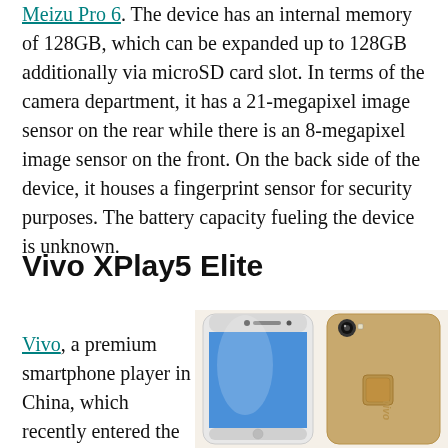Meizu Pro 6. The device has an internal memory of 128GB, which can be expanded up to 128GB additionally via microSD card slot. In terms of the camera department, it has a 21-megapixel image sensor on the rear while there is an 8-megapixel image sensor on the front. On the back side of the device, it houses a fingerprint sensor for security purposes. The battery capacity fueling the device is unknown.
Vivo XPlay5 Elite
Vivo, a premium smartphone player in China, which recently entered the
[Figure (photo): Two Vivo XPlay5 Elite smartphones shown from front and back, in gold color]